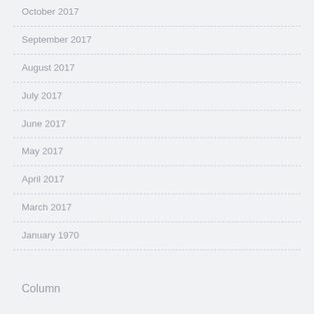October 2017
September 2017
August 2017
July 2017
June 2017
May 2017
April 2017
March 2017
January 1970
Column